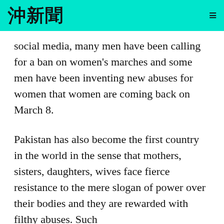沖新聞
social media, many men have been calling for a ban on women's marches and some men have been inventing new abuses for women that women are coming back on March 8.
Pakistan has also become the first country in the world in the sense that mothers, sisters, daughters, wives face fierce resistance to the mere slogan of power over their bodies and they are rewarded with filthy abuses. Such